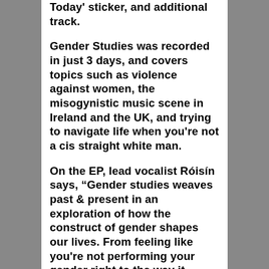Today' sticker, and additional track.
Gender Studies was recorded in just 3 days, and covers topics such as violence against women, the misogynistic music scene in Ireland and the UK, and trying to navigate life when you're not a cis straight white man.
On the EP, lead vocalist Róisín says, “Gender studies weaves past & present in an exploration of how the construct of gender shapes our lives. From feeling like you're not performing your gender right to the way it shapes how we move through the physical, sexual & romantic sphere it marries urgent lyrics with a threatening (but) excellent...